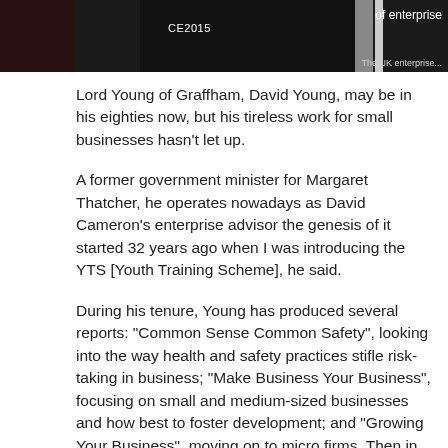[Figure (photo): Dark photograph strip showing people at what appears to be a business/enterprise event labeled CE2015, with partial text 'of enterprise' visible on right side]
Lord Young of Graffham, David Young, may be in his eighties now, but his tireless work for small businesses hasn't let up.
A former government minister for Margaret Thatcher, he operates nowadays as David Cameron's enterprise advisor the genesis of it started 32 years ago when I was introducing the YTS [Youth Training Scheme], he said.
During his tenure, Young has produced several reports: "Common Sense Common Safety", looking into the way health and safety practices stifle risk-taking in business; "Make Business Your Business", focusing on small and medium-sized businesses and how best to foster development; and "Growing Your Business", moving on to micro firms. Then in 2014, there was "Enterprise For All", an exploration of how enterprise can feature within education, and earlier in 2015 a report on the changing face of small business over the past five years.